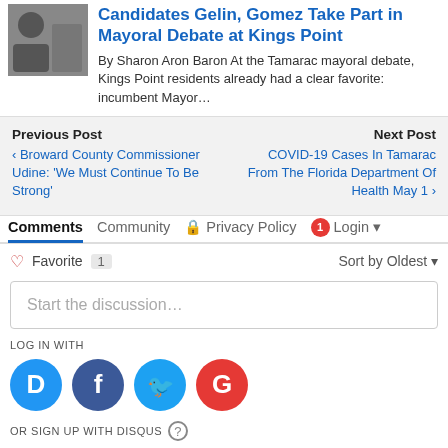Candidates Gelin, Gomez Take Part in Mayoral Debate at Kings Point
By Sharon Aron Baron At the Tamarac mayoral debate, Kings Point residents already had a clear favorite: incumbent Mayor…
Previous Post
‹ Broward County Commissioner Udine: 'We Must Continue To Be Strong'
Next Post
COVID-19 Cases In Tamarac From The Florida Department Of Health May 1 ›
Comments  Community  🔒 Privacy Policy  1  Login ▾
♡ Favorite  1
Sort by Oldest ▾
Start the discussion…
LOG IN WITH
[Figure (infographic): Social login icons: Disqus (D, blue), Facebook (f, dark blue), Twitter (bird, light blue), Google (G, red)]
OR SIGN UP WITH DISQUS ?